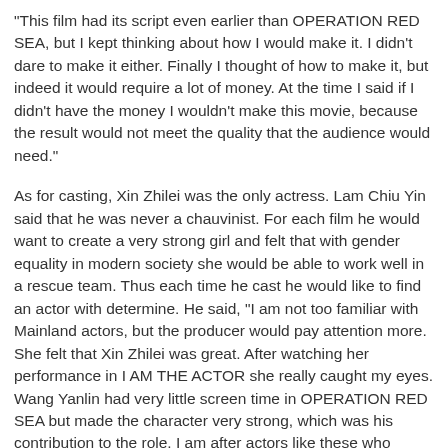"This film had its script even earlier than OPERATION RED SEA, but I kept thinking about how I would make it. I didn't dare to make it either. Finally I thought of how to make it, but indeed it would require a lot of money. At the time I said if I didn't have the money I wouldn't make this movie, because the result would not meet the quality that the audience would need."
As for casting, Xin Zhilei was the only actress. Lam Chiu Yin said that he was never a chauvinist. For each film he would want to create a very strong girl and felt that with gender equality in modern society she would be able to work well in a rescue team. Thus each time he cast he would like to find an actor with determine. He said, "I am not too familiar with Mainland actors, but the producer would pay attention more. She felt that Xin Zhilei was great. After watching her performance in I AM THE ACTOR she really caught my eyes. Wang Yanlin had very little screen time in OPERATION RED SEA but made the character very strong, which was his contribution to the role. I am after actors like these who would give them all without any regret. I feel he is the person I need in the movie."